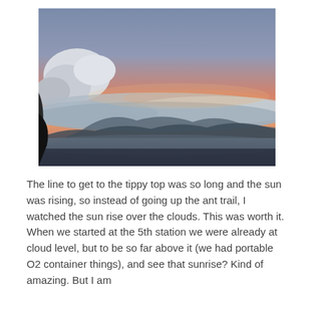[Figure (photo): Aerial view from a mountain or aircraft showing a sunrise over clouds. The sky displays a gradient from blue-grey at the top to warm orange and pink near the horizon. Below the colourful sky, a sea of clouds stretches across the frame with misty mountain silhouettes visible through the cloud layer. A dark shape (aircraft window frame or mountainside) is visible in the lower-left corner.]
The line to get to the tippy top was so long and the sun was rising, so instead of going up the ant trail, I watched the sun rise over the clouds. This was worth it. When we started at the 5th station we were already at cloud level, but to be so far above it (we had portable O2 container things), and see that sunrise? Kind of amazing. But I am